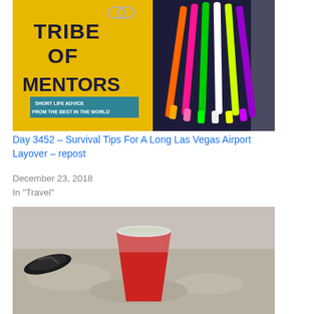[Figure (photo): Photo of 'Tribe of Mentors - Short Life Advice From The Best In The World' by Timothy Ferriss book in yellow and dark blue, placed next to colorful highlighters and pens on a grey surface]
Day 3452 – Survival Tips For A Long Las Vegas Airport Layover – repost
December 23, 2018
In "Travel"
[Figure (photo): Black and white photo of a red solo cup sitting in sand on a beach, with flip flops visible in the background]